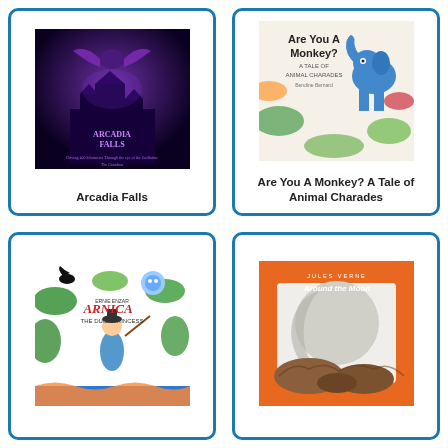[Figure (illustration): Book cover for 'Arcadia Falls' - dark purple/black fantasy castle with winged creature, dramatic purple lighting]
Arcadia Falls
[Figure (illustration): Book cover for 'Are You A Monkey? A Tale of Animal Charades' - white background with colorful animals including a blue elephant]
Are You A Monkey? A Tale of Animal Charades
[Figure (illustration): Book cover for 'Arnica the Duck Princess' - colorful illustrated jungle scene with a girl character]
[Figure (illustration): Book cover for 'Around the Moon' by Jules Verne - orange cover with moon and rocky foreground illustration]